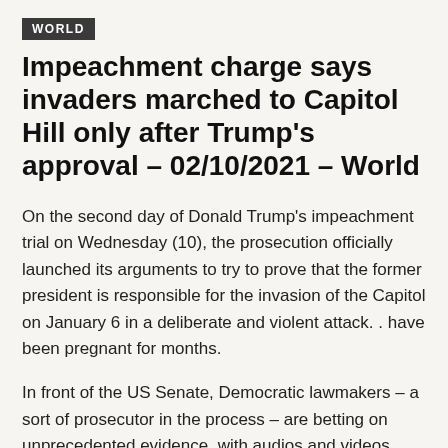WORLD
Impeachment charge says invaders marched to Capitol Hill only after Trump's approval – 02/10/2021 – World
On the second day of Donald Trump's impeachment trial on Wednesday (10), the prosecution officially launched its arguments to try to prove that the former president is responsible for the invasion of the Capitol on January 6 in a deliberate and violent attack. . have been pregnant for months.
In front of the US Senate, Democratic lawmakers – a sort of prosecutor in the process – are betting on unprecedented evidence, with audios and videos